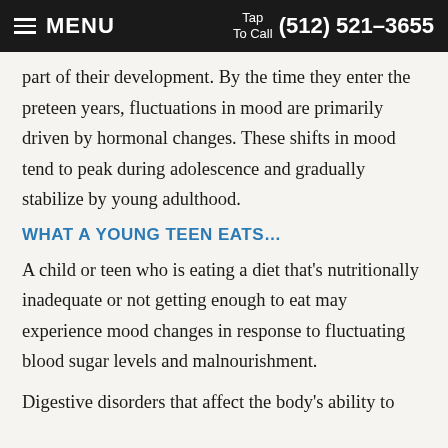MENU | Tap To Call (512) 521-3655
part of their development. By the time they enter the preteen years, fluctuations in mood are primarily driven by hormonal changes. These shifts in mood tend to peak during adolescence and gradually stabilize by young adulthood.
WHAT A YOUNG TEEN EATS…
A child or teen who is eating a diet that's nutritionally inadequate or not getting enough to eat may experience mood changes in response to fluctuating blood sugar levels and malnourishment.
Digestive disorders that affect the body's ability to